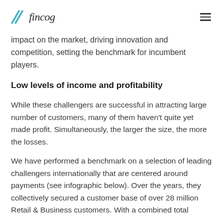fincog
impact on the market, driving innovation and competition, setting the benchmark for incumbent players.
Low levels of income and profitability
While these challengers are successful in attracting large number of customers, many of them haven't quite yet made profit. Simultaneously, the larger the size, the more the losses.
We have performed a benchmark on a selection of leading challengers internationally that are centered around payments (see infographic below). Over the years, they collectively secured a customer base of over 28 million Retail & Business customers. With a combined total